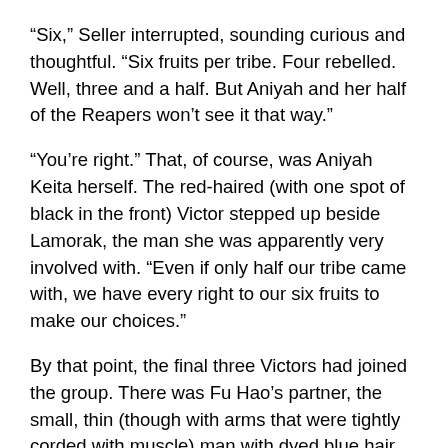“Six,” Seller interrupted, sounding curious and thoughtful. “Six fruits per tribe. Four rebelled. Well, three and a half. But Aniyah and her half of the Reapers won’t see it that way.”
“You’re right.” That, of course, was Aniyah Keita herself. The red-haired (with one spot of black in the front) Victor stepped up beside Lamorak, the man she was apparently very involved with. “Even if only half our tribe came with, we have every right to our six fruits to make our choices.”
By that point, the final three Victors had joined the group. There was Fu Hao’s partner, the small, thin (though with arms that were tightly corded with muscle) man with dyed blue hair known as Carseus, as well as the twin leaders of the Dust Striders, Alexander Helios and Cleopatra (Cleo) Selene. It was the woman who spoke up. “Having six new